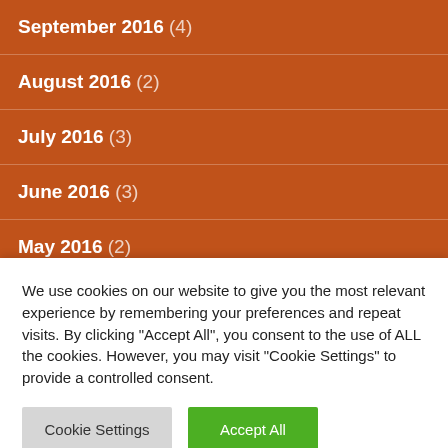September 2016 (4)
August 2016 (2)
July 2016 (3)
June 2016 (3)
May 2016 (2)
April 2016 (3)
March 2016 (5)
February 2016 (4)
We use cookies on our website to give you the most relevant experience by remembering your preferences and repeat visits. By clicking "Accept All", you consent to the use of ALL the cookies. However, you may visit "Cookie Settings" to provide a controlled consent.
Cookie Settings | Accept All